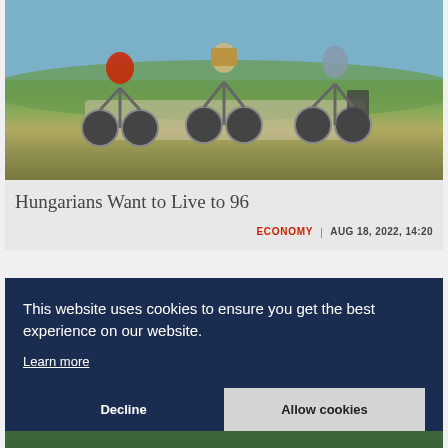[Figure (photo): Three cyclists riding on a path near a lake or river, seen from behind. One wears a red jacket, one has a bicycle with a wicker basket, and one wears a grey jacket with panniers. Green grass and blue water visible in background.]
Hungarians Want to Live to 96
ECONOMY | AUG 18, 2022, 14:20
[Figure (photo): Partially visible second article card with dark blue cookie consent overlay.]
This website uses cookies to ensure you get the best experience on our website.
Learn more
Decline
Allow cookies